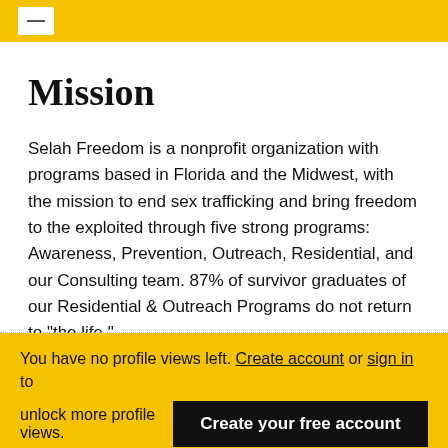[Navigation bar with menu icon]
Mission
Selah Freedom is a nonprofit organization with programs based in Florida and the Midwest, with the mission to end sex trafficking and bring freedom to the exploited through five strong programs: Awareness, Prevention, Outreach, Residential, and our Consulting team. 87% of survivor graduates of our Residential & Outreach Programs do not return to "the life."
Ruling year
You have no profile views left. Create account or sign in to unlock more profile views. Create your free account